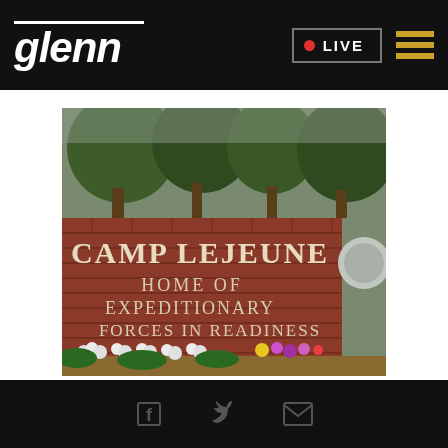glenn | LIVE
[Figure (photo): Camp Lejeune entrance sign reading 'CAMP LEJEUNE HOME OF EXPEDITIONARY FORCES IN READINESS' on a brick wall, with flower memorials placed at the base. Trees visible in the background.]
Social share icons: Facebook, Twitter, Email